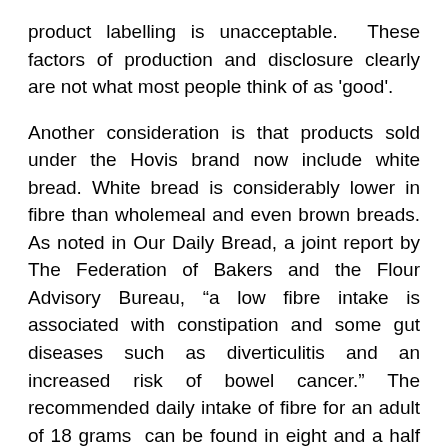product labelling is unacceptable.  These factors of production and disclosure clearly are not what most people think of as 'good'.
Another consideration is that products sold under the Hovis brand now include white bread. White bread is considerably lower in fibre than wholemeal and even brown breads. As noted in Our Daily Bread, a joint report by The Federation of Bakers and the Flour Advisory Bureau, "a low fibre intake is associated with constipation and some gut diseases such as diverticulitis and an increased risk of bowel cancer." The recommended daily intake of fibre for an adult of 18 grams  can be found in eight and a half slices of Hovis Original Wheatgerm. In order to get this amount from Hovis Soft White, one would need to eat 18 slices, which would also involve the consumption of 16 grams of fat, 25 grams of sugars and over 7 grams of salt , more than the Food Standards Agency's